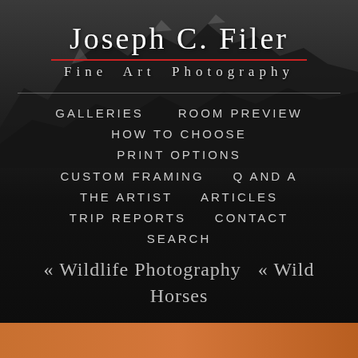[Figure (photo): Dark mountain landscape background with snow-capped peaks, desaturated monochrome]
Joseph C. Filer
Fine Art Photography
GALLERIES
ROOM PREVIEW
HOW TO CHOOSE
PRINT OPTIONS
CUSTOM FRAMING
Q AND A
THE ARTIST
ARTICLES
TRIP REPORTS
CONTACT
SEARCH
« Wildlife Photography  « Wild Horses
[Figure (photo): Orange/warm colored strip at the bottom of the page]